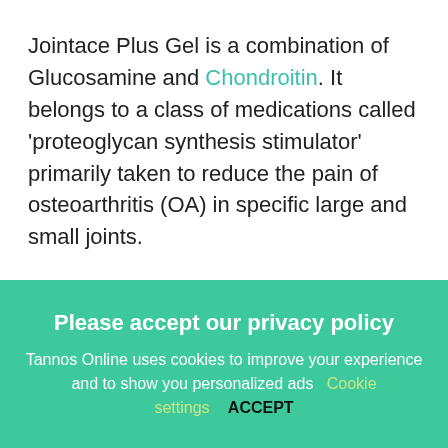Jointace Plus Gel is a combination of Glucosamine and Chondroitin. It belongs to a class of medications called 'proteoglycan synthesis stimulator' primarily taken to reduce the pain of osteoarthritis (OA) in specific large and small joints.
Please accept our privacy policy
Tannos Online uses cookies to improve your experience and to show you personalized ads   Cookie settings   ACCEPT